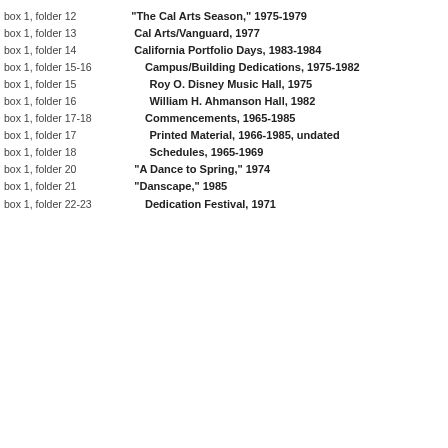box 1, folder 12   "The Cal Arts Season," 1975-1979
box 1, folder 13   Cal Arts/Vanguard, 1977
box 1, folder 14   California Portfolio Days, 1983-1984
box 1, folder 15-16   Campus/Building Dedications, 1975-1982
box 1, folder 15   Roy O. Disney Music Hall, 1975
box 1, folder 16   William H. Ahmanson Hall, 1982
box 1, folder 17-18   Commencements, 1965-1985
box 1, folder 17   Printed Material, 1966-1985, undated
box 1, folder 18   Schedules, 1965-1969
box 1, folder 20   "A Dance to Spring," 1974
box 1, folder 21   "Danscape," 1985
box 1, folder 22-23   Dedication Festival, 1971